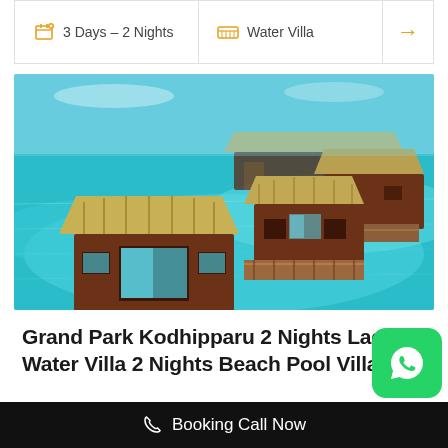3 Days – 2 Nights
Water Villa
[Figure (photo): Aerial view of overwater bungalows / water villas with thatched roofs over turquoise lagoon water in the Maldives]
Grand Park Kodhipparu 2 Nights Lagoon Water Villa 2 Nights Beach Pool Villa
Booking Call Now